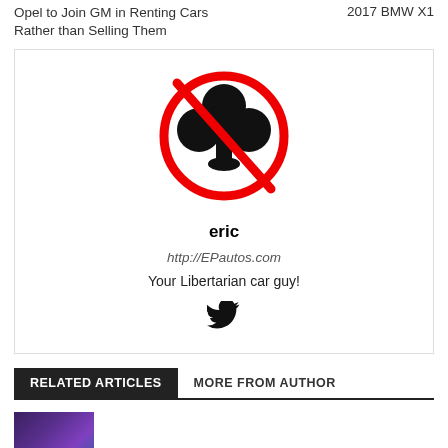Opel to Join GM in Renting Cars Rather than Selling Them
2017 BMW X1
[Figure (illustration): A no-clubs symbol: black clover/clubs card suit icon inside a red prohibition circle with a diagonal red line through it]
eric
http://EPautos.com
Your Libertarian car guy!
[Figure (illustration): Twitter bird icon in black]
RELATED ARTICLES
MORE FROM AUTHOR
[Figure (photo): Thumbnail image with purple/blue gradient colors]